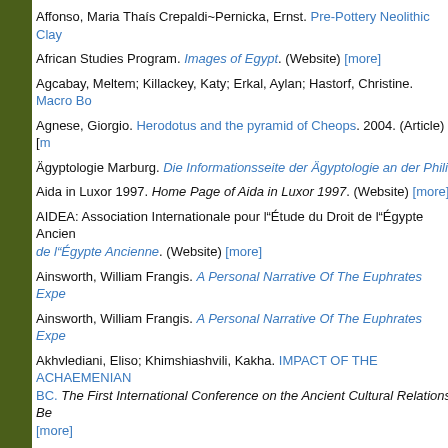Affonso, Maria Thaís Crepaldi~Pernicka, Ernst. Pre-Pottery Neolithic Clay [more]
African Studies Program. Images of Egypt. (Website) [more]
Agcabay, Meltem; Killackey, Katy; Erkal, Aylan; Hastorf, Christine. Macro Bo [more]
Agnese, Giorgio. Herodotus and the pyramid of Cheops. 2004. (Article) [m
Ägyptologie Marburg. Die Informationsseite der Ägyptologie an der Phili
Aida in Luxor 1997. Home Page of Aida in Luxor 1997. (Website) [more]
AIDEA: Association Internationale pour l"Étude du Droit de l"Égypte Ancien. de l"Égypte Ancienne. (Website) [more]
Ainsworth, William Frangis. A Personal Narrative Of The Euphrates Exped
Ainsworth, William Frangis. A Personal Narrative Of The Euphrates Exped
Akhvlediani, Eliso; Khimshiashvili, Kakha. IMPACT OF THE ACHAEMENIAN BC. The First International Conference on the Ancient Cultural Relations Be [more]
Akkermans, Peter M. M. G~Verhoeven, Marc. Excavations at Tell Sabi Aby
Akshar, Jane. Luxor News. (Blog) [more]
Al-Ayedi, Abdul Rahman. Tharu : the starting point on the Ways of Horus
al-Gailani Werr, Lamia. Year Zero for the Archaeology of Iraq: A Respons [more]
Al-Radi, Selma. In the Aftermath of Civil War: Cultural Heritage in Leban [more]
Alam, C. Une classe ouvrière en Egypte pharaonique les ... Parti